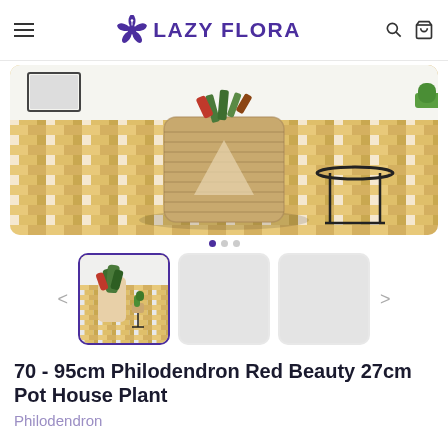LAZY FLORA
[Figure (photo): Photo of a woven basket planter on a herringbone wood floor with a metal side table, used as main product image carousel]
[Figure (photo): Thumbnail image of Philodendron Red Beauty plant in a pot on herringbone floor, selected state with purple border]
70 - 95cm Philodendron Red Beauty 27cm Pot House Plant
Philodendron